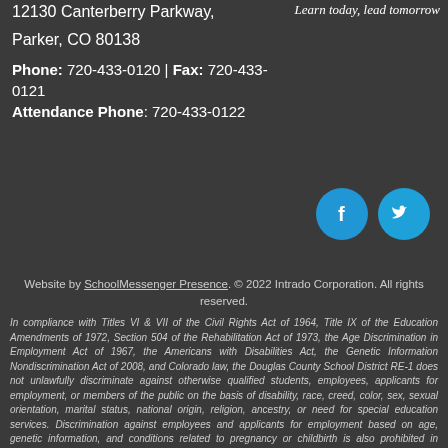[Figure (logo): Cursive script logo text reading 'Learn today, lead tomorrow']
12130 Canterberry Parkway,
Parker, CO 80138
Phone: 720-433-0120 | Fax: 720-433-0121
Attendance Phone: 720-433-0122
[Figure (logo): Facebook and Twitter social media icon circles in blue]
Website by SchoolMessenger Presence. © 2022 Intrado Corporation. All rights reserved.
In compliance with Titles VI & VII of the Civil Rights Act of 1964, Title IX of the Education Amendments of 1972, Section 504 of the Rehabilitation Act of 1973, the Age Discrimination in Employment Act of 1967, the Americans with Disabilities Act, the Genetic Information Nondiscrimination Act of 2008, and Colorado law, the Douglas County School District RE-1 does not unlawfully discriminate against otherwise qualified students, employees, applicants for employment, or members of the public on the basis of disability, race, creed, color, sex, sexual orientation, marital status, national origin, religion, ancestry, or need for special education services. Discrimination against employees and applicants for employment based on age, genetic information, and conditions related to pregnancy or childbirth is also prohibited in accordance with state and/or federal law. Complaint procedures